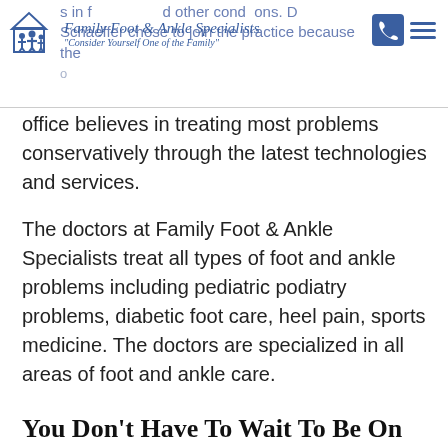Family Foot & Ankle Specialists - Consider Yourself One of the Family
office believes in treating most problems conservatively through the latest technologies and services.
The doctors at Family Foot & Ankle Specialists treat all types of foot and ankle problems including pediatric podiatry problems, diabetic foot care, heel pain, sports medicine. The doctors are specialized in all areas of foot and ankle care.
You Don't Have To Wait To Be On TV To Be Treated